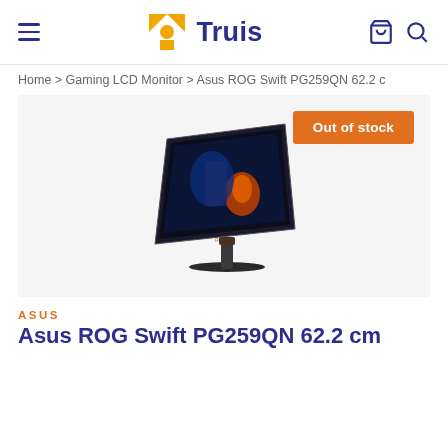Truis
Home > Gaming LCD Monitor > Asus ROG Swift PG259QN 62.2 c
[Figure (photo): Asus ROG Swift PG259QN gaming monitor on a stand, shown at an angle with a gaming wallpaper displayed on the screen. Orange 'Out of stock' button in top right.]
ASUS
Asus ROG Swift PG259QN 62.2 cm